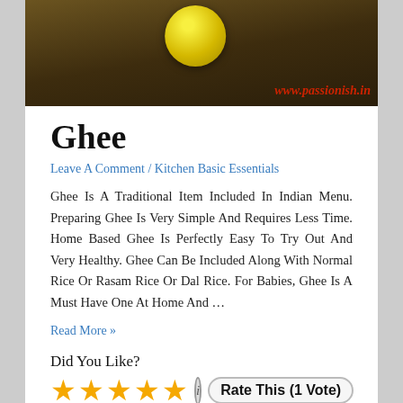[Figure (photo): Photo banner of ghee or food item with yellow/lemon object on dark brown wooden background. Watermark text 'www.passionish.in' in red italic in bottom right.]
Ghee
Leave A Comment / Kitchen Basic Essentials
Ghee Is A Traditional Item Included In Indian Menu. Preparing Ghee Is Very Simple And Requires Less Time. Home Based Ghee Is Perfectly Easy To Try Out And Very Healthy. Ghee Can Be Included Along With Normal Rice Or Rasam Rice Or Dal Rice. For Babies, Ghee Is A Must Have One At Home And …
Read More »
Did You Like?
★★★★★  (i)  Rate This (1 Vote)